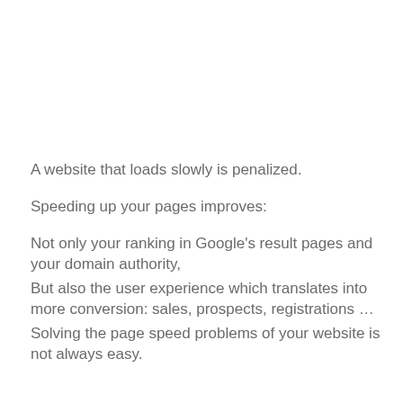A website that loads slowly is penalized.
Speeding up your pages improves:
Not only your ranking in Google's result pages and your domain authority,
But also the user experience which translates into more conversion: sales, prospects, registrations …
Solving the page speed problems of your website is not always easy.